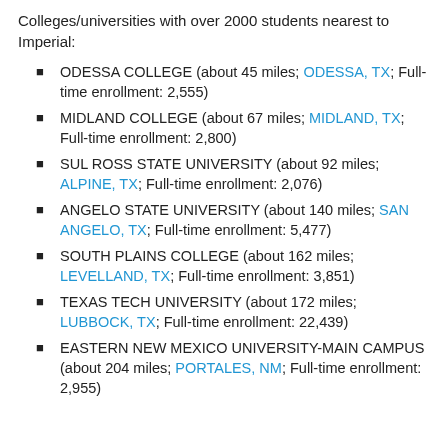Colleges/universities with over 2000 students nearest to Imperial:
ODESSA COLLEGE (about 45 miles; ODESSA, TX; Full-time enrollment: 2,555)
MIDLAND COLLEGE (about 67 miles; MIDLAND, TX; Full-time enrollment: 2,800)
SUL ROSS STATE UNIVERSITY (about 92 miles; ALPINE, TX; Full-time enrollment: 2,076)
ANGELO STATE UNIVERSITY (about 140 miles; SAN ANGELO, TX; Full-time enrollment: 5,477)
SOUTH PLAINS COLLEGE (about 162 miles; LEVELLAND, TX; Full-time enrollment: 3,851)
TEXAS TECH UNIVERSITY (about 172 miles; LUBBOCK, TX; Full-time enrollment: 22,439)
EASTERN NEW MEXICO UNIVERSITY-MAIN CAMPUS (about 204 miles; PORTALES, NM; Full-time enrollment: 2,955)